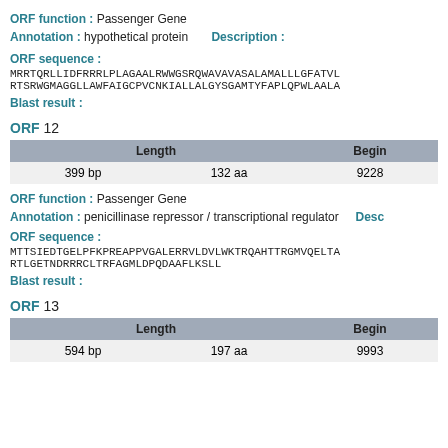ORF function : Passenger Gene
Annotation : hypothetical protein    Description :
ORF sequence :
MRRTQRLLIDFRRRLPLAGAALRWWGSRQWAVAVASALAMALLLGFATVL RTSRWGMAGGLLAWFAIGCPVCNKIALLALGYSGAMTYFAPLQPWLAALA
Blast result :
ORF 12
| Length |  | Begin |
| --- | --- | --- |
| 399 bp | 132 aa | 9228 |
ORF function : Passenger Gene
Annotation : penicillinase repressor / transcriptional regulator    Desc
ORF sequence :
MTTSIEDTGELPFKPREAPPVGALERRVLDVLWKTRQAHTTRGMVQELTA RTLGETNDRRRCLTRFAGMLDPQDAAFLKSLL
Blast result :
ORF 13
| Length |  | Begin |
| --- | --- | --- |
| 594 bp | 197 aa | 9993 |